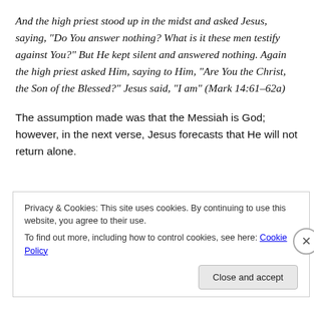And the high priest stood up in the midst and asked Jesus, saying, “Do You answer nothing? What is it these men testify against You?” But He kept silent and answered nothing. Again the high priest asked Him, saying to Him, “Are You the Christ, the Son of the Blessed?” Jesus said, “I am” (Mark 14:61–62a)
The assumption made was that the Messiah is God; however, in the next verse, Jesus forecasts that He will not return alone.
Privacy & Cookies: This site uses cookies. By continuing to use this website, you agree to their use.
To find out more, including how to control cookies, see here: Cookie Policy